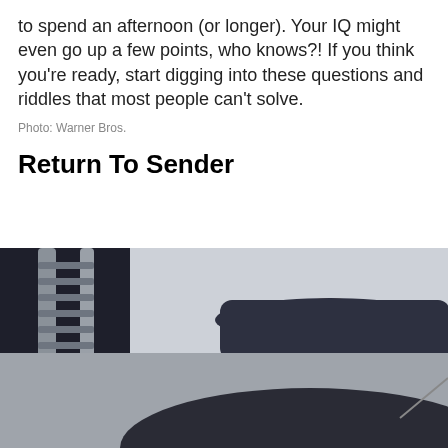to spend an afternoon (or longer). Your IQ might even go up a few points, who knows?! If you think you're ready, start digging into these questions and riddles that most people can't solve.
Photo: Warner Bros.
Return To Sender
[Figure (photo): A man wearing a dark Shimano baseball cap and black jacket, photographed from below at close range. Metal ladder/railing structure visible on the left side. Overcast sky visible on right side of upper portion.]